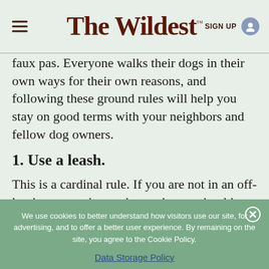The Wildest™  SIGN UP
faux pas. Everyone walks their dogs in their own ways for their own reasons, and following these ground rules will help you stay on good terms with your neighbors and fellow dog owners.
1. Use a leash.
This is a cardinal rule. If you are not in an off-leash area, such as a dog park, you should always have your dog on a leash during your walk. While your
We use cookies to better understand how visitors use our site, for advertising, and to offer a better user experience. By remaining on the site, you agree to the Cookie Policy.
Data Storage Policy